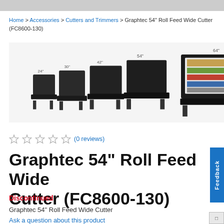Home > Accessories > Cutters and Trimmers > Graphtec 54" Roll Feed Wide Cutter (FC8600-130)
[Figure (photo): Product lineup photo showing five Graphtec roll feed wide cutters in sizes 24", 30", 42", 54" (smaller ones stacked), and a large 64" unit on the right with printed media.]
★★★★★ (0 reviews)
Graphtec 54" Roll Feed Wide Cutter (FC8600-130)
Discontinued
Graphtec 54" Roll Feed Wide Cutter
Ask a question about this product
SKU: FC8600-130